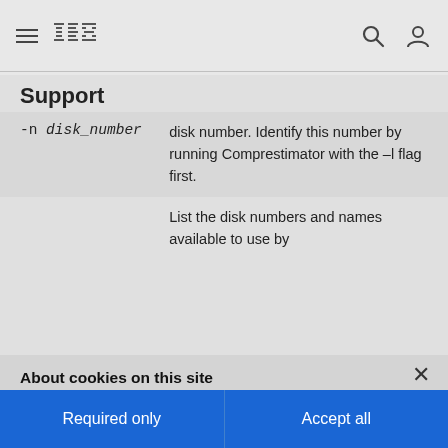IBM Support
Support
| Flag | Description |
| --- | --- |
| -n disk_number | disk number. Identify this number by running Comprestimator with the –l flag first. |
|  | List the disk numbers and names available to use by |
About cookies on this site
Our websites require some cookies to function properly (required). In addition, other cookies may be used with your consent to analyze site usage, improve the user experience and for advertising.
For more information, please review your Cookie preferences options and IBM's privacy statement.
Required only
Accept all